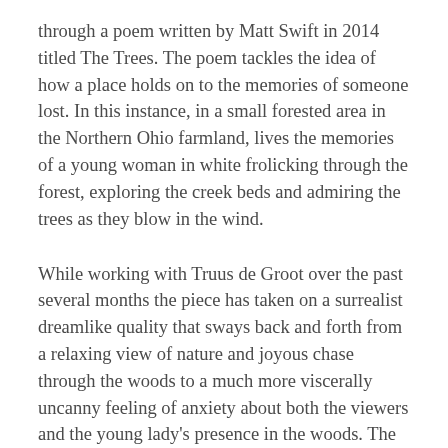through a poem written by Matt Swift in 2014 titled The Trees. The poem tackles the idea of how a place holds on to the memories of someone lost. In this instance, in a small forested area in the Northern Ohio farmland, lives the memories of a young woman in white frolicking through the forest, exploring the creek beds and admiring the trees as they blow in the wind.
While working with Truus de Groot over the past several months the piece has taken on a surrealist dreamlike quality that sways back and forth from a relaxing view of nature and joyous chase through the woods to a much more viscerally uncanny feeling of anxiety about both the viewers and the young lady's presence in the woods. The end result is the stuff of conflicted dreams that taps into the emotional centers controlling both joy and longing.